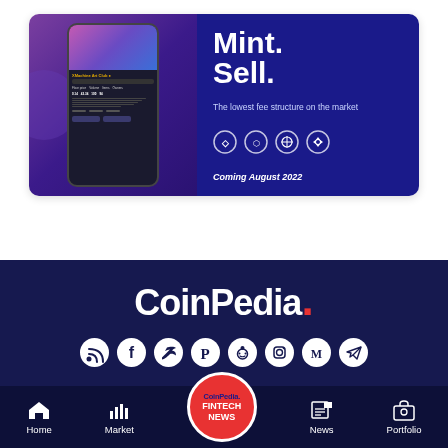[Figure (screenshot): Advertisement card showing a mobile app mockup (XMachine Art Club) on the left with purple/dark gradient background, and on the right a dark blue panel with bold white text 'Mint. Sell.' followed by 'The lowest fee structure on the market', four circular crypto token icons, and 'Coming August 2022' in italic.]
[Figure (logo): CoinPedia logo in white bold text with a red period/dot, on dark navy background. Below are social media icons (RSS, Facebook, Twitter, Pinterest, Reddit, Instagram, Medium, Telegram) as white circles.]
[Figure (screenshot): Bottom navigation bar with Home, Market, CoinPedia Fintech News badge (center), News, and Portfolio icons on dark navy background.]